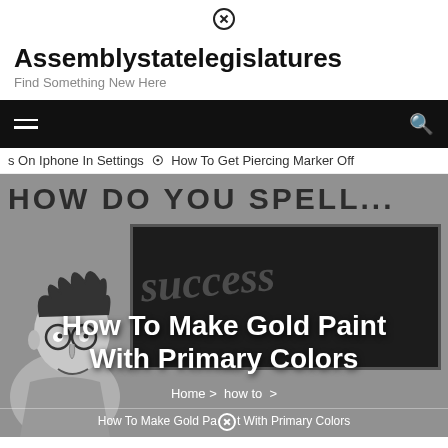Assemblystatelegislatures – Find Something New Here
Navigation bar with hamburger menu and search icon
s On Iphone In Settings  ⊙ How To Get Piercing Marker Off
[Figure (illustration): Hero image showing a cartoon character looking at a chalkboard with 'HOW DO YOU SPELL...' text and 'success' written on a blackboard]
How To Make Gold Paint With Primary Colors
Home > how to > How To Make Gold Paint With Primary Colors